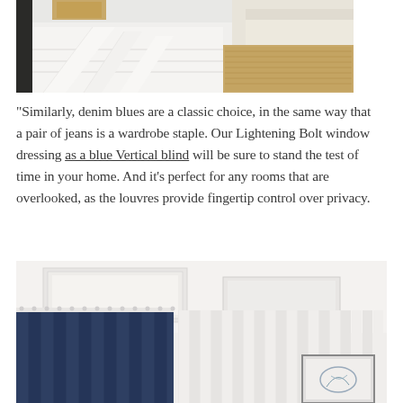[Figure (photo): Top portion of a living room scene showing white paneled floor or surface, a beige sofa partially visible, and a natural fiber rug on the right side.]
“Similarly, denim blues are a classic choice, in the same way that a pair of jeans is a wardrobe staple. Our Lightening Bolt window dressing as a blue Vertical blind will be sure to stand the test of time in your home. And it’s perfect for any rooms that are overlooked, as the louvres provide fingertip control over privacy.
[Figure (photo): Interior room scene showing navy blue vertical blinds on the left, white vertical blinds on the right, a white ceiling with recessed rectangular light panel, and a framed artwork partially visible on the right wall.]